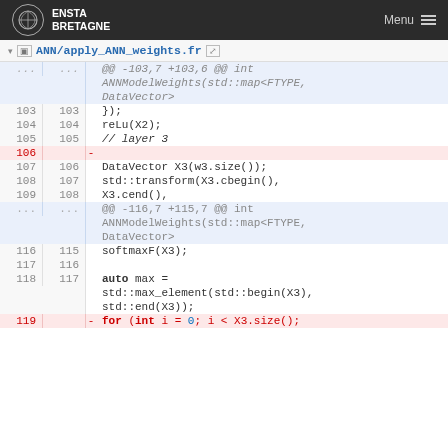ENSTA BRETAGNE  Menu
ANN/apply_ANN_weights.fr
@@ -103,7 +103,6 @@ int ANNModelWeights(std::map<FTYPE, DataVector>
103  103      });
104  104      reLu(X2);
105  105      // layer 3
106       -
107  106      DataVector X3(w3.size());
108  107      std::transform(X3.cbegin(),
109  108                             X3.cend(),
...  ...  @@ -116,7 +115,7 @@ int ANNModelWeights(std::map<FTYPE, DataVector>
116  115      softmaxF(X3);
117  116
118  117      auto max = std::max_element(std::begin(X3), std::end(X3));
119       -    for (int i = 0; i < X3.size();